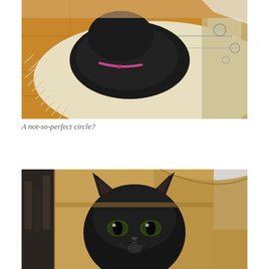[Figure (photo): A black cat curled up in a loaf position on a decorative area rug over a hardwood floor. The cat has a pink collar visible. The rug has ornate patterns in blue and cream with fringe edges.]
A not-so-perfect circle?
[Figure (photo): A black cat with green eyes peering over the edge of a cardboard box, looking directly at the camera with a stern expression.]